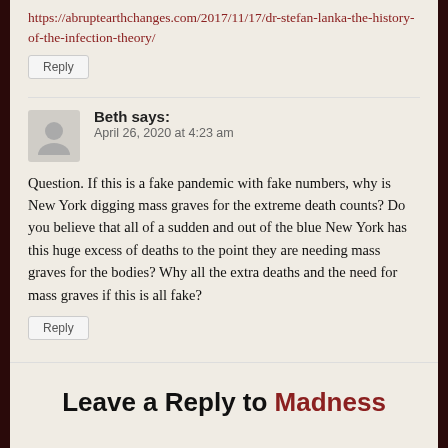https://abruptearthchanges.com/2017/11/17/dr-stefan-lanka-the-history-of-the-infection-theory/
Reply
Beth says:
April 26, 2020 at 4:23 am
Question. If this is a fake pandemic with fake numbers, why is New York digging mass graves for the extreme death counts? Do you believe that all of a sudden and out of the blue New York has this huge excess of deaths to the point they are needing mass graves for the bodies? Why all the extra deaths and the need for mass graves if this is all fake?
Reply
Leave a Reply to Madness